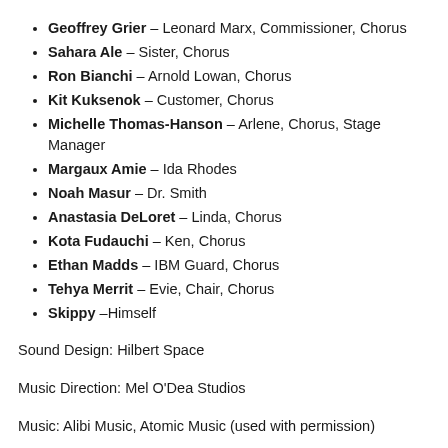Geoffrey Grier – Leonard Marx, Commissioner, Chorus
Sahara Ale – Sister, Chorus
Ron Bianchi – Arnold Lowan, Chorus
Kit Kuksenok – Customer, Chorus
Michelle Thomas-Hanson – Arlene, Chorus, Stage Manager
Margaux Amie – Ida Rhodes
Noah Masur – Dr. Smith
Anastasia DeLoret – Linda, Chorus
Kota Fudauchi – Ken, Chorus
Ethan Madds – IBM Guard, Chorus
Tehya Merrit – Evie, Chair, Chorus
Skippy –Himself
Sound Design: Hilbert Space
Music Direction: Mel O'Dea Studios
Music: Alibi Music, Atomic Music (used with permission)